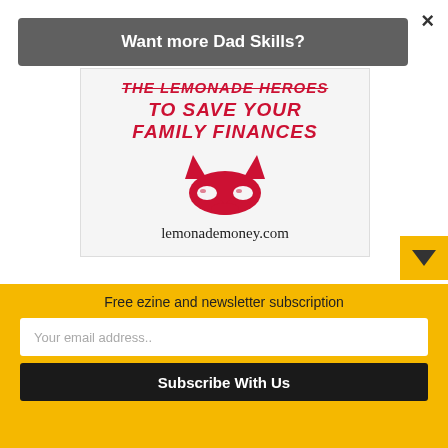×
Want more Dad Skills?
[Figure (illustration): Lemonade Money promotional graphic with red comic-style text reading 'THE LEMONADE HEROES TO SAVE YOUR FAMILY FINANCES', a red bat-mask logo, and the URL lemonademoney.com on a light gray background]
Free ezine and newsletter subscription
Your email address..
Subscribe With Us